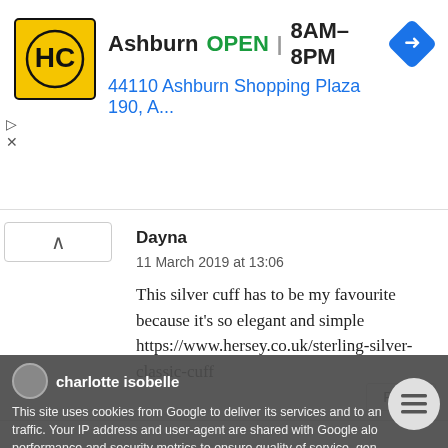[Figure (screenshot): Advertisement banner for HC (Hertz/car care) showing Ashburn location, OPEN status, hours 8AM-8PM, address 44110 Ashburn Shopping Plaza 190, A..., with yellow HC logo and blue navigation arrow icon]
Dayna
11 March 2019 at 13:06
This silver cuff has to be my favourite because it's so elegant and simple https://www.hersey.co.uk/sterling-silver-classic-cuff
Reply
charlotte isobelle
This site uses cookies from Google to deliver its services and to analyze traffic. Your IP address and user-agent are shared with Google along with performance and security metrics to ensure quality of service, generate usage statistics, and to detect and address abuse.
https://www.hersey.co.uk/never-beaten-secret-message-bangle
LEARN MORE    OK